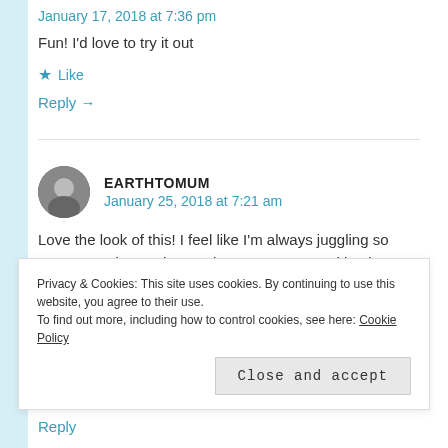January 17, 2018 at 7:36 pm
Fun! I'd love to try it out
★ Like
Reply →
EARTHTOMUM
January 25, 2018 at 7:21 am
Love the look of this! I feel like I'm always juggling so many containers when I take my son out, and it takes
Privacy & Cookies: This site uses cookies. By continuing to use this website, you agree to their use. To find out more, including how to control cookies, see here: Cookie Policy
Close and accept
Reply